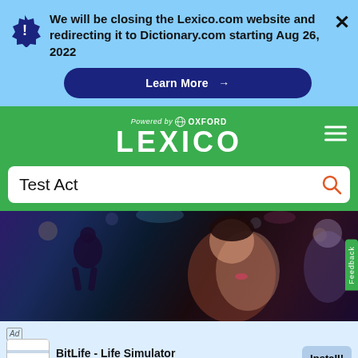We will be closing the Lexico.com website and redirecting it to Dictionary.com starting Aug 26, 2022
Learn More →
[Figure (screenshot): Lexico dictionary website header with Oxford branding on green background, search bar with 'Test Act', dancing people photo, and ad banner for BitLife - Life Simulator]
Test Act
BitLife - Life Simulator
Candywriter, LLC
Install!